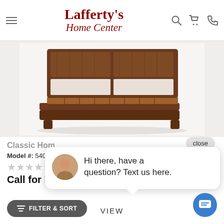Lafferty's Home Center
[Figure (photo): A wooden platform bed frame with slatted headboard and angled legs, shown on white background]
close
Hi there, have a question? Text us here.
Classic Hom...
Model #: 54004
★★★★★ (0)
Call for Best Price
FILTER & SORT
VIEW